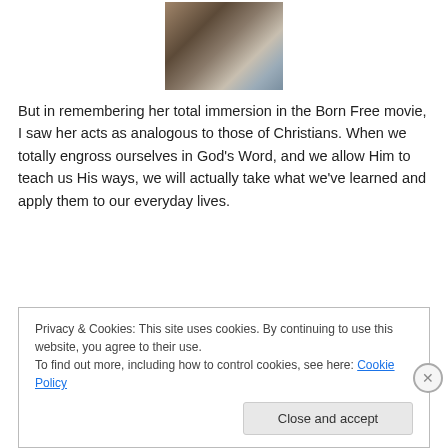[Figure (photo): Photo of a dog or similar animal in a room, appears brownish/dark, with a radiator or window visible in background]
But in remembering her total immersion in the Born Free movie, I saw her acts as analogous to those of Christians. When we totally engross ourselves in God’s Word, and we allow Him to teach us His ways, we will actually take what we’ve learned and apply them to our everyday lives.
Privacy & Cookies: This site uses cookies. By continuing to use this website, you agree to their use.
To find out more, including how to control cookies, see here: Cookie Policy